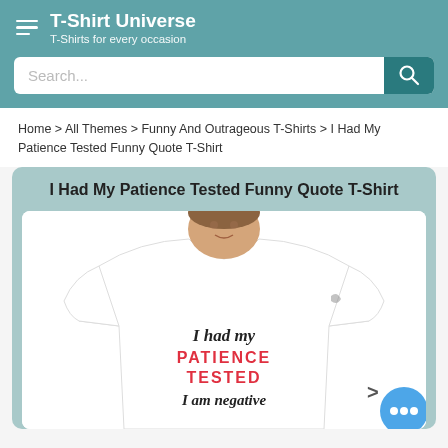T-Shirt Universe — T-Shirts for every occasion
Search...
Home > All Themes > Funny And Outrageous T-Shirts > I Had My Patience Tested Funny Quote T-Shirt
I Had My Patience Tested Funny Quote T-Shirt
[Figure (photo): Man wearing a white t-shirt that reads 'I had my PATIENCE TESTED I am negative']